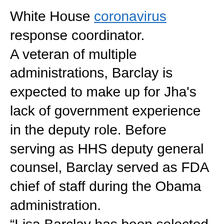White House coronavirus response coordinator. A veteran of multiple administrations, Barclay is expected to make up for Jha's lack of government experience in the deputy role. Before serving as HHS deputy general counsel, Barclay served as FDA chief of staff during the Obama administration. “Lisa Barclay has been selected to step into the role as White House Deputy Covid-19 Response Coordinator. In this role, she will serve alongside Dr. Ashish Jha to help oversee and coordinate the nation’s Covid-19 response efforts,” a White House official said in a statement.